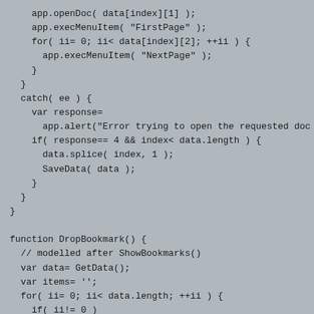app.openDoc( data[index][1] );
    app.execMenuItem( "FirstPage" );
    for( ii= 0; ii< data[index][2]; ++ii ) {
      app.execMenuItem( "NextPage" );
    }
  }
  catch( ee ) {
    var response=
      app.alert("Error trying to open the requested doc
    if( response== 4 && index< data.length ) {
      data.splice( index, 1 );
      SaveData( data );
    }
  }
}

function DropBookmark() {
  // modelled after ShowBookmarks()
  var data= GetData();
  var items= '';
  for( ii= 0; ii< data.length; ++ii ) {
    if( ii!= 0 )
      items+= ', ';
    items+= '"'+ ii+ ': '+ data[ii][0]+ '"';
  }
  var command= 'app.popUpMenu( '+ items+ ' );';